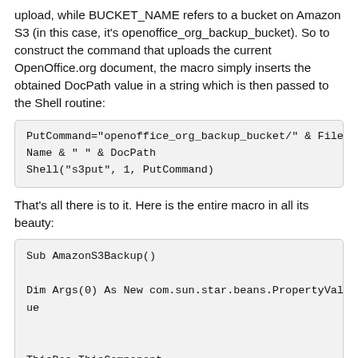upload, while BUCKET_NAME refers to a bucket on Amazon S3 (in this case, it's openoffice_org_backup_bucket). So to construct the command that uploads the current OpenOffice.org document, the macro simply inserts the obtained DocPath value in a string which is then passed to the Shell routine:
That's all there is to it. Here is the entire macro in all its beauty: